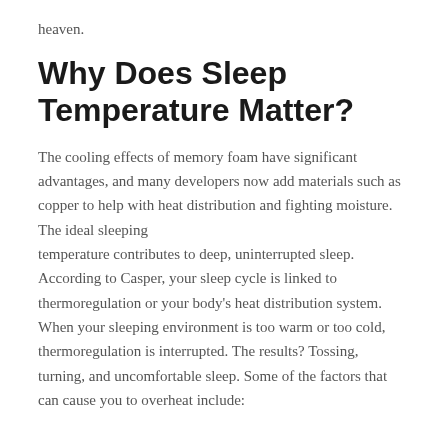heaven.
Why Does Sleep Temperature Matter?
The cooling effects of memory foam have significant advantages, and many developers now add materials such as copper to help with heat distribution and fighting moisture. The ideal sleeping temperature contributes to deep, uninterrupted sleep. According to Casper, your sleep cycle is linked to thermoregulation or your body’s heat distribution system. When your sleeping environment is too warm or too cold, thermoregulation is interrupted. The results? Tossing, turning, and uncomfortable sleep. Some of the factors that can cause you to overheat include: